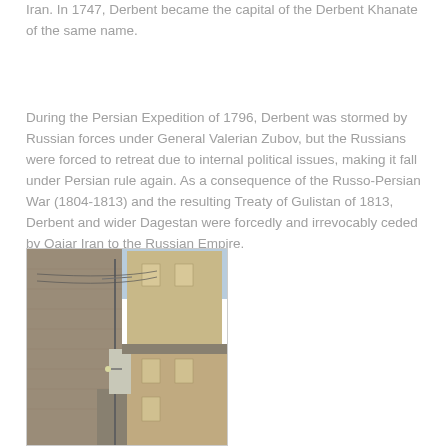Iran. In 1747, Derbent became the capital of the Derbent Khanate of the same name.
During the Persian Expedition of 1796, Derbent was stormed by Russian forces under General Valerian Zubov, but the Russians were forced to retreat due to internal political issues, making it fall under Persian rule again. As a consequence of the Russo-Persian War (1804-1813) and the resulting Treaty of Gulistan of 1813, Derbent and wider Dagestan were forcedly and irrevocably ceded by Qajar Iran to the Russian Empire.
[Figure (photo): A narrow alleyway between stone buildings in Derbent, showing traditional limestone/sandstone block construction with utility poles and wires visible.]